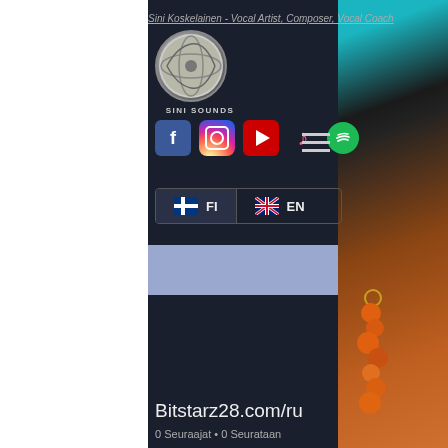Sini Koskelainen - Vocal Artist, Composer, Vocal Coach
[Figure (logo): Sini Sounds globe logo with swirling lines, circular emblem above text SINI SOUNDS]
[Figure (infographic): Social media icons row: Facebook (blue F), Instagram (gradient camera), YouTube (red play button), Apple Music (pink note), Spotify (green circle). Hamburger menu icon on right.]
[Figure (infographic): Language switcher with Finnish flag and FI / UK flag and EN buttons]
[Figure (photo): Profile photo of person with teal/cyan hair and large orange bead earrings on dark background]
[Figure (infographic): Profile avatar circle with letter B, Seuraa (Follow) button, and three-dot menu]
Bitstarz28.com/ru
0 Seuraajat • 0 Seurataan